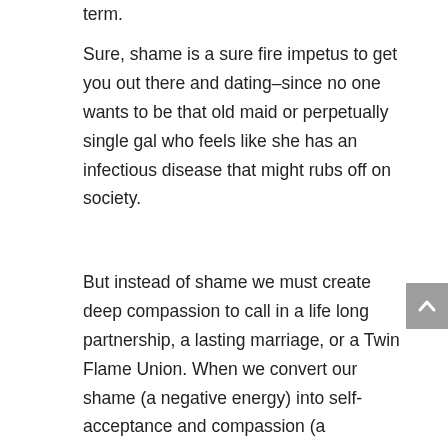term.
Sure, shame is a sure fire impetus to get you out there and dating–since no one wants to be that old maid or perpetually single gal who feels like she has an infectious disease that might rubs off on society.
But instead of shame we must create deep compassion to call in a life long partnership, a lasting marriage, or a Twin Flame Union. When we convert our shame (a negative energy) into self-acceptance and compassion (a